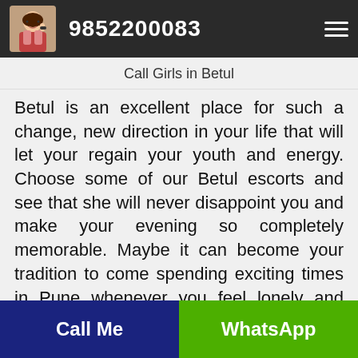9852200083
Call Girls in Betul
Betul is an excellent place for such a change, new direction in your life that will let your regain your youth and energy. Choose some of our Betul escorts and see that she will never disappoint you and make your evening so completely memorable. Maybe it can become your tradition to come spending exciting times in Pune whenever you feel lonely and need adventure. You can pick the best lady for you and let her await your every Pune visit. First decisions are the best so listen to
Call Me   WhatsApp